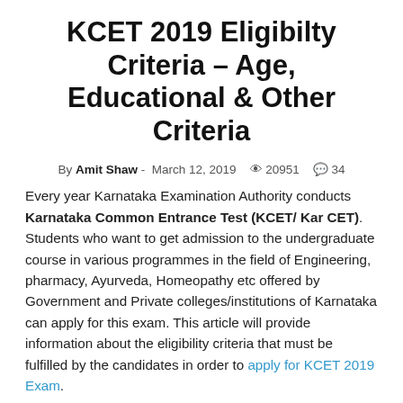KCET 2019 Eligibilty Criteria – Age, Educational & Other Criteria
By Amit Shaw - March 12, 2019  👁 20951  💬 34
Every year Karnataka Examination Authority conducts Karnataka Common Entrance Test (KCET/ Kar CET). Students who want to get admission to the undergraduate course in various programmes in the field of Engineering, pharmacy, Ayurveda, Homeopathy etc offered by Government and Private colleges/institutions of Karnataka can apply for this exam. This article will provide information about the eligibility criteria that must be fulfilled by the candidates in order to apply for KCET 2019 Exam.